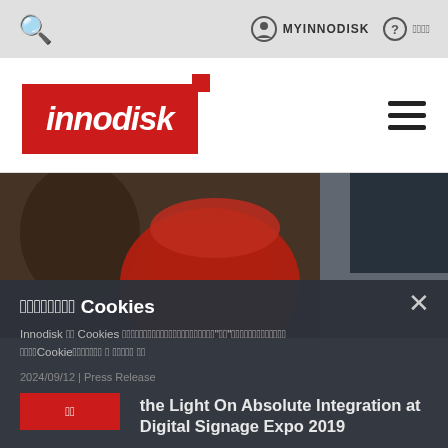MYINNODISK  ????
[Figure (logo): Innodisk logo - red rectangle with white italic text 'innodisk' and small red square accent]
[Figure (photo): Blurred close-up photo of red microphone and audience seating at conference/expo event]
???????? Cookies
Innodisk ?? Cookies ?????????????????????"??"?????????????Cookie???????? ? ????? ??
2024/09/12 | Press Release
??
Keeping the Light On Absolute Integration at Digital Signage Expo 2019